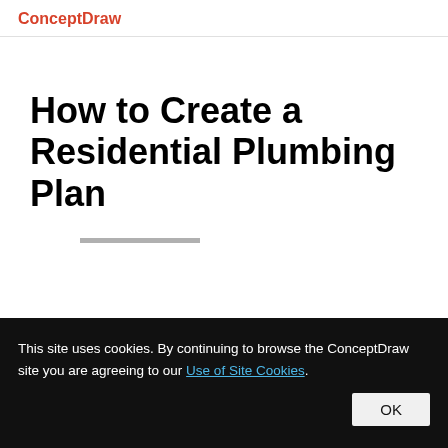ConceptDraw
How to Create a Residential Plumbing Plan
This site uses cookies. By continuing to browse the ConceptDraw site you are agreeing to our Use of Site Cookies.